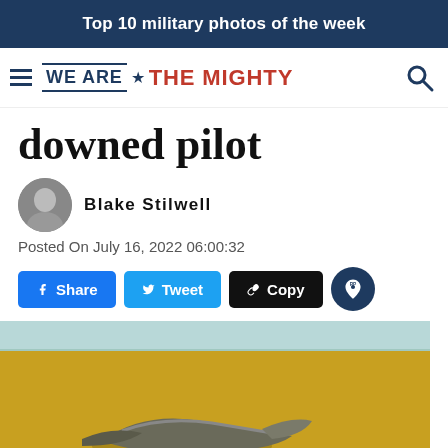Top 10 military photos of the week
[Figure (logo): We Are The Mighty logo with hamburger menu and search icon]
downed pilot
Blake Stilwell
Posted On July 16, 2022 06:00:32
[Figure (photo): Desert scene with downed aircraft wreckage on sandy ground under light sky]